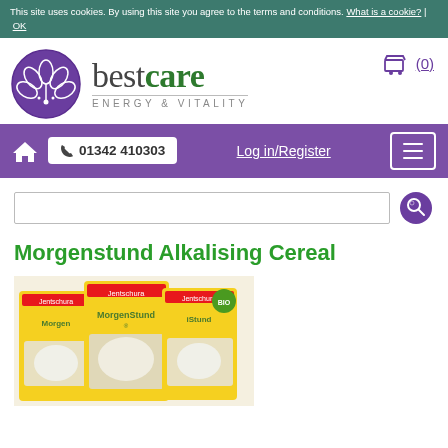This site uses cookies. By using this site you agree to the terms and conditions. What is a cookie? | OK
[Figure (logo): bestcare Energy & Vitality logo with purple lotus circle icon and green/grey text]
🛒 (0)
🏠  📞 01342 410303  Log in/Register  ☰
Search bar
Morgenstund Alkalising Cereal
[Figure (photo): Three yellow boxes of Jentschura MorgenStund alkalising cereal product]